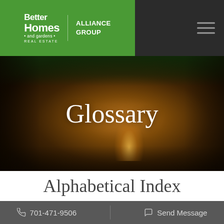Better Homes and Gardens Real Estate | Alliance Group
[Figure (photo): Dark warm-toned outdoor patio/garden scene with a wooden dining table, chairs, candlelight centerpiece, and ambient string lights in a garden setting at dusk. Title 'Glossary' overlaid in white serif text.]
Alphabetical Index
701-471-9506   Send Message